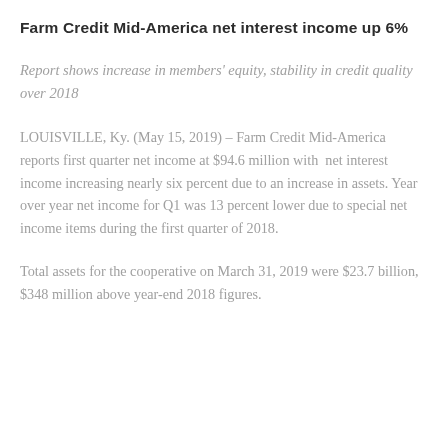Farm Credit Mid-America net interest income up 6%
Report shows increase in members' equity, stability in credit quality over 2018
LOUISVILLE, Ky. (May 15, 2019) – Farm Credit Mid-America reports first quarter net income at $94.6 million with net interest income increasing nearly six percent due to an increase in assets. Year over year net income for Q1 was 13 percent lower due to special net income items during the first quarter of 2018.
Total assets for the cooperative on March 31, 2019 were $23.7 billion, $348 million above year-end 2018 figures.